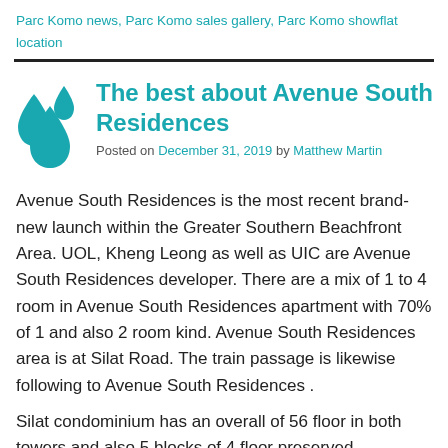Parc Komo news, Parc Komo sales gallery, Parc Komo showflat location
The best about Avenue South Residences
Posted on December 31, 2019 by Matthew Martin
Avenue South Residences is the most recent brand-new launch within the Greater Southern Beachfront Area. UOL, Kheng Leong as well as UIC are Avenue South Residences developer. There are a mix of 1 to 4 room in Avenue South Residences apartment with 70% of 1 and also 2 room kind. Avenue South Residences area is at Silat Road. The train passage is likewise following to Avenue South Residences .
Silat condominium has an overall of 56 floor in both towers and also 5 blocks of 4 floor preserved